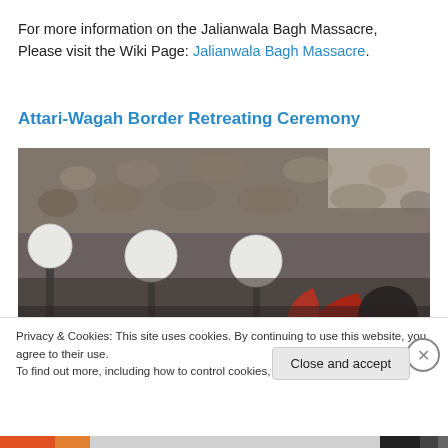For more information on the Jalianwala Bagh Massacre, Please visit the Wiki Page: Jalianwala Bagh Massacre.
Attari-Wagah Border Retreating Ceremony
[Figure (photo): Crowd photo of the Attari-Wagah Border Retreating Ceremony showing a large audience in stands, lamp posts with round white globes, and ceremonial guards with colorful fans in the foreground.]
Privacy & Cookies: This site uses cookies. By continuing to use this website, you agree to their use.
To find out more, including how to control cookies, see here: Cookie Policy